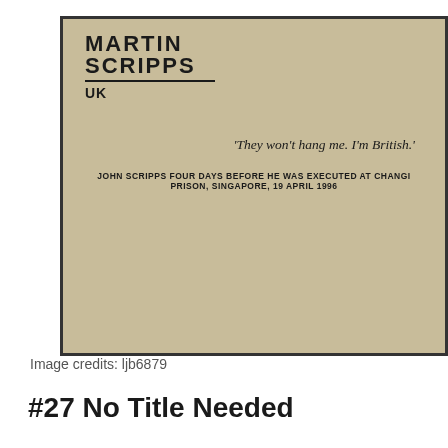[Figure (photo): Book cover of 'Martin Scripps UK' with a tan/beige background showing the title logo in bold black text with a line underneath, and a quote: 'They won't hang me. I'm British.' with attribution to John Scripps four days before he was executed at Changi Prison, Singapore, 19 April 1996.]
Image credits: ljb6879
#27 No Title Needed